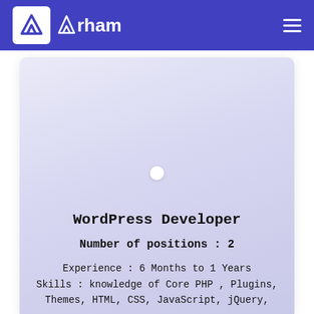[Figure (logo): Arham logo with white triangle/mountain icon on blue background and 'Arham' text in white]
[Figure (illustration): Rounded card with light purple/lavender gradient background and a small white circle in the center]
WordPress Developer
Number of positions : 2
Experience : 6 Months to 1 Years
Skills : knowledge of Core PHP , Plugins,
Themes, HTML, CSS, JavaScript, jQuery,